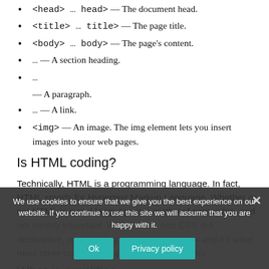<head> … head> — The document head.
<title> … title> — The page title.
<body> … body> — The page's content.
… — A section heading.
…
— A paragraph.
… — A link.
<img> — An image. The img element lets you insert images into your web pages.
Is HTML coding?
Technically, HTML is a programming language. In fact, HTML stands for Hypertext Markup Language. Whether or not HTML is a real language is a matter of semantics, and not terribly important. While HTML and CSS are declarative, most coding is computational — and it's what most other coding languages are designed for.
What is amplifica…